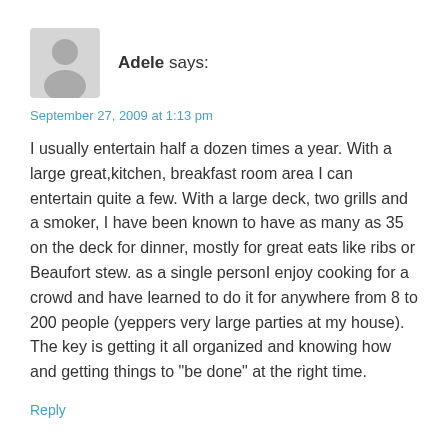[Figure (illustration): Generic grey user avatar icon showing a silhouette of a person (head and shoulders) on a light grey rounded square background]
Adele says:
September 27, 2009 at 1:13 pm
I usually entertain half a dozen times a year. With a large great,kitchen, breakfast room area I can entertain quite a few. With a large deck, two grills and a smoker, I have been known to have as many as 35 on the deck for dinner, mostly for great eats like ribs or Beaufort stew. as a single personI enjoy cooking for a crowd and have learned to do it for anywhere from 8 to 200 people (yeppers very large parties at my house). The key is getting it all organized and knowing how and getting things to "be done" at the right time.
Reply